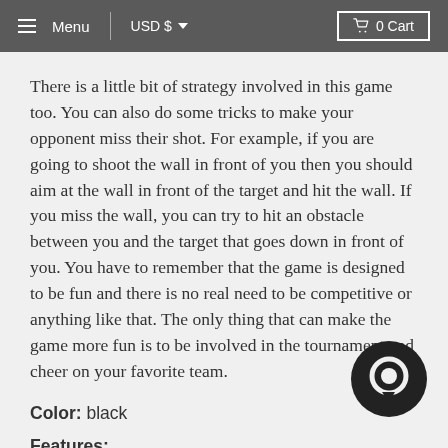Menu  USD $  0 Cart
There is a little bit of strategy involved in this game too. You can also do some tricks to make your opponent miss their shot. For example, if you are going to shoot the wall in front of you then you should aim at the wall in front of the target and hit the wall. If you miss the wall, you can try to hit an obstacle between you and the target that goes down in front of you. You have to remember that the game is designed to be fun and there is no real need to be competitive or anything like that. The only thing that can make the game more fun is to be involved in the tournament and cheer on your favorite team.
Color: black
Features: